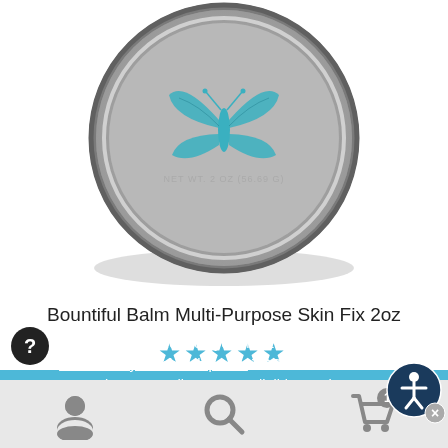[Figure (photo): Product photo: circular tin of Bountiful Balm Multi-Purpose Skin Fix 2oz, brushed silver/pewter finish with teal butterfly embossed on lid, label reads NET WT. 2 OZ (56.69 G)]
Bountiful Balm Multi-Purpose Skin Fix 2oz
[Figure (other): Five blue star rating icons]
Interested in saving 10% on your next THM store purchase? Join TrimHealthyMembership.com TODAY. Current members receive a 10% discount on eligible purchases. Already a member? Log In to enjoy your discount now.
[Figure (other): Bottom navigation bar with user/account icon, search icon, and shopping cart icon with badge showing 1 item]